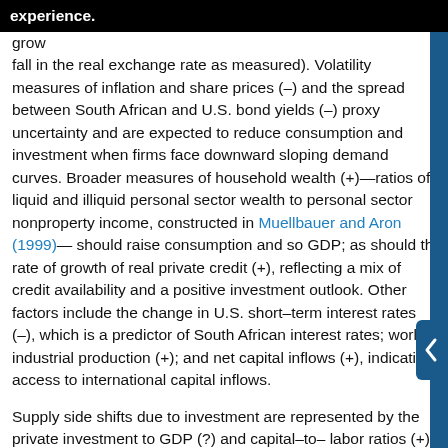grow experience. a fall in the real exchange rate as measured). Volatility measures of inflation and share prices (–) and the spread between South African and U.S. bond yields (–) proxy uncertainty and are expected to reduce consumption and investment when firms face downward sloping demand curves. Broader measures of household wealth (+)—ratios of liquid and illiquid personal sector wealth to personal sector nonproperty income, constructed in Muellbauer and Aron (1999)—should raise consumption and so GDP; as should the rate of growth of real private credit (+), reflecting a mix of credit availability and a positive investment outlook. Other factors include the change in U.S. short–term interest rates (–), which is a predictor of South African interest rates; world industrial production (+); and net capital inflows (+), indicating access to international capital inflows.
Supply side shifts due to investment are represented by the private investment to GDP (?) and capital–to–labor ratios (+), the former entering as the moving average of the log ratio of fixed capital formation